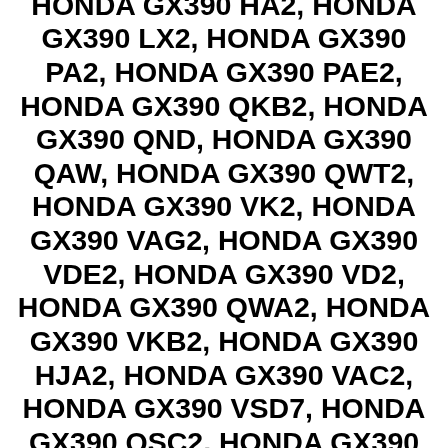HONDA GX390 VME2, HONDA GX390 VM2, HONDA GX390 VC2, HONDA GX390 VWC7, HONDA GX390 HA2, HONDA GX390 LX2, HONDA GX390 PA2, HONDA GX390 PAE2, HONDA GX390 QKB2, HONDA GX390 QND, HONDA GX390 QAW, HONDA GX390 QWT2, HONDA GX390 VK2, HONDA GX390 VAG2, HONDA GX390 VDE2, HONDA GX390 VD2, HONDA GX390 QWA2, HONDA GX390 VKB2, HONDA GX390 HJA2, HONDA GX390 VAC2, HONDA GX390 VSD7, HONDA GX390 QSC2, HONDA GX390 QTR2, HONDA GX390 VMS2, HONDA GX390 VXG, HONDA GX390,